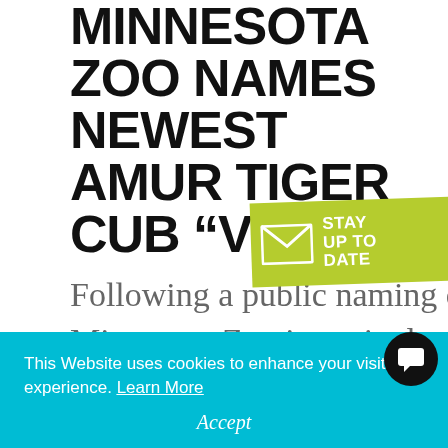MINNESOTA ZOO NAMES NEWEST AMUR TIGER CUB “VERA”
[Figure (infographic): Green diagonal banner with envelope icon and text 'STAY UP TO DATE' in white bold font]
Following a public naming contest, the Minnesota Zoo is excited to announce the name of the Zoo’s newest female Amur tiger cub is “Vera” [pronounced
This Website uses cookies to enhance your visitor experience. Learn More
Accept